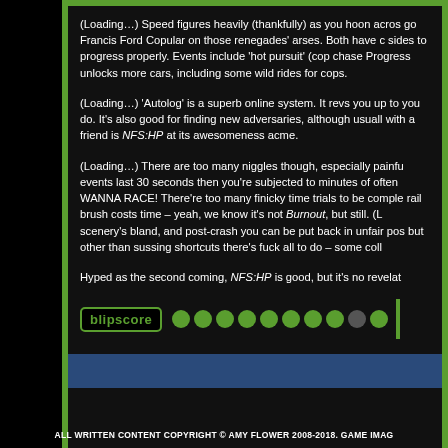(Loading…) Speed figures heavily (thankfully) as you hoon acros go Francis Ford Copular on those renegades' arses. Both have c sides to progress properly. Events include 'hot pursuit' (cop chase Progress unlocks more cars, including some wild rides for cops.
(Loading…) 'Autolog' is a superb online system. It revs you up to you do. It's also good for finding new adversaries, although usuall with a friend is NFS:HP at its awesomeness acme.
(Loading…) There are too many niggles though, especially painfu events last 30 seconds then you're subjected to minutes of often WANNA RACE! There're too many finicky time trials to be comple rail brush costs time – yeah, we know it's not Burnout, but still. (L scenery's bland, and post-crash you can be put back in unfair pos but other than sussing shortcuts there's fuck all to do – some coll
Hyped as the second coming, NFS:HP is good, but it's no revelat
[Figure (infographic): Blipscore rating showing green dots (8 filled, 1 half, 1 empty) with a vertical green bar]
ALL WRITTEN CONTENT COPYRIGHT © AMY FLOWER 2008-2018. GAME IMAG